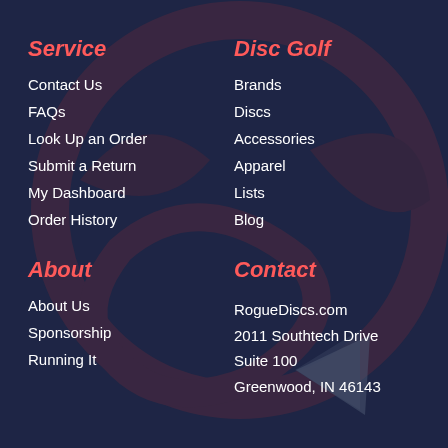Service
Contact Us
FAQs
Look Up an Order
Submit a Return
My Dashboard
Order History
Disc Golf
Brands
Discs
Accessories
Apparel
Lists
Blog
About
About Us
Sponsorship
Running It
Contact
RogueDiscs.com
2011 Southtech Drive
Suite 100
Greenwood, IN 46143